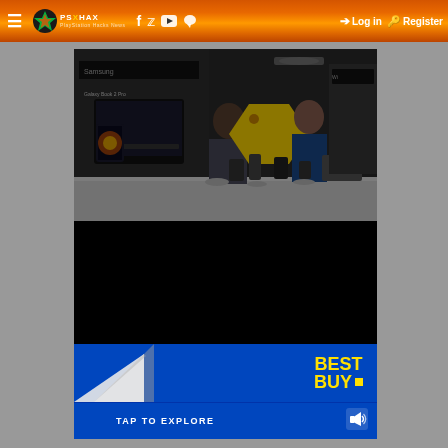[Figure (screenshot): Website header bar with orange/gradient background showing hamburger menu icon, PSXHAX logo with flame icon, social media icons (Facebook, Twitter, YouTube, chat), and navigation buttons for Log in and Register]
[Figure (screenshot): Embedded video player showing a Best Buy store scene with Samsung Galaxy Book display on left, and a male customer talking with a female blue-shirted Best Buy employee at a counter with smartphones on display. A large yellow price tag is visible in the center.]
[Figure (screenshot): Black area below the video player, part of the video/embed player interface]
[Figure (screenshot): Best Buy advertisement overlay with blue background, showing a page-peel effect on the left, Best Buy logo in yellow on right, and a TAP TO EXPLORE button at the bottom with a speaker/audio icon]